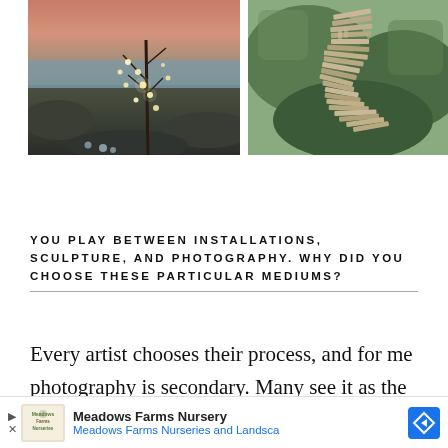[Figure (photo): Outdoor twilight scene with a bare tree decorated with hanging globe lights on a rocky coastline with water in the background]
[Figure (photo): Mossy green rocks with a wooden art installation — stacked planks arranged in a winding sculptural form]
YOU PLAY BETWEEN INSTALLATIONS, SCULPTURE, AND PHOTOGRAPHY. WHY DID YOU CHOOSE THESE PARTICULAR MEDIUMS?
Every artist chooses their process, and for me photography is secondary. Many see it as the primary medium of my work, but in the process it is
[Figure (screenshot): Advertisement banner: Meadows Farms Nursery — Meadows Farms Nurseries and Landscape, with logo and navigation arrow icon]